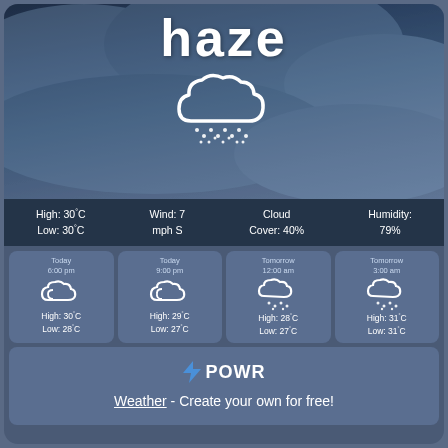haze
[Figure (illustration): White cloud icon with rain drops below it on dark stormy sky background]
High: 30°C  Low: 30°C  |  Wind: 7 mph S  |  Cloud Cover: 40%  |  Humidity: 79%
Today 6:00 pm  High: 30°C  Low: 28°C
Today 9:00 pm  High: 29°C  Low: 27°C
Tomorrow 12:00 am  High: 28°C  Low: 27°C
Tomorrow 3:00 am  High: 31°C  Low: 31°C
⚡ POWR  Weather - Create your own for free!